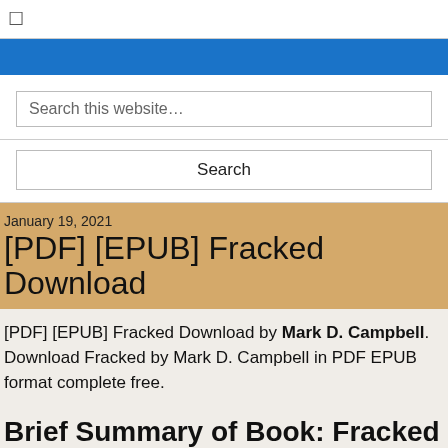☐
Search this website…
Search
January 19, 2021
[PDF] [EPUB] Fracked Download
[PDF] [EPUB] Fracked Download by Mark D. Campbell. Download Fracked by Mark D. Campbell in PDF EPUB format complete free.
Brief Summary of Book: Fracked by Mark D. Campbell